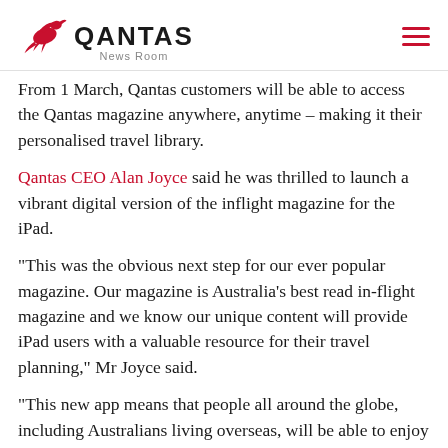[Figure (logo): Qantas News Room logo with kangaroo icon and hamburger menu icon]
From 1 March, Qantas customers will be able to access the Qantas magazine anywhere, anytime – making it their personalised travel library.
Qantas CEO Alan Joyce said he was thrilled to launch a vibrant digital version of the inflight magazine for the iPad.
"This was the obvious next step for our ever popular magazine. Our magazine is Australia's best read in-flight magazine and we know our unique content will provide iPad users with a valuable resource for their travel planning," Mr Joyce said.
"This new app means that people all around the globe, including Australians living overseas, will be able to enjoy Qantas The Australian Way.
The print version of Qantas The Australian Way will still be